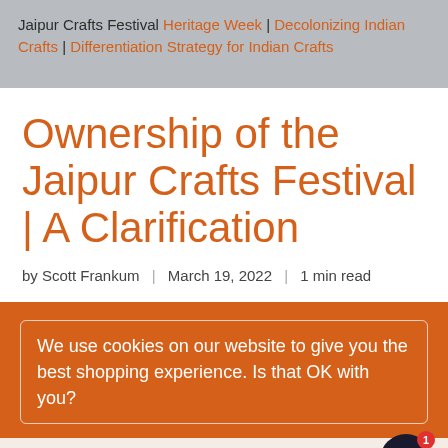Jaipur Crafts Festival Heritage Week | Decolonizing Indian Crafts | Differentiation Strategy for Indian Crafts
Ownership of the Jaipur Crafts Festival | A Clarification
by Scott Frankum | March 19, 2022 | 1 min read
We use cookies on our website to give you the best shopping experience. Is that OK with you?
Agree